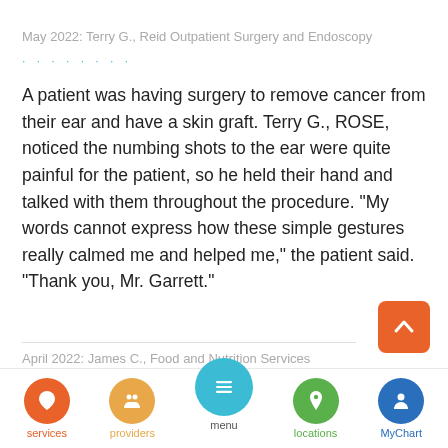May 2022: Terry G., Reid Outpatient Surgery and Endoscopy
A patient was having surgery to remove cancer from their ear and have a skin graft. Terry G., ROSE, noticed the numbing shots to the ear were quite painful for the patient, so he held their hand and talked with them throughout the procedure. "My words cannot express how these simple gestures really calmed me and helped me," the patient said. "Thank you, Mr. Garrett."
April 2022: James C., Food and Nutrition Services
services | providers | menu | locations | MyChart